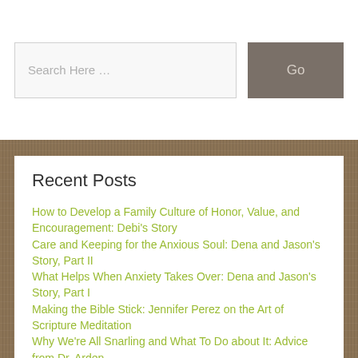[Figure (screenshot): Search input field with placeholder text 'Search Here ...' and a Go button]
Recent Posts
How to Develop a Family Culture of Honor, Value, and Encouragement: Debi's Story
Care and Keeping for the Anxious Soul: Dena and Jason's Story, Part II
What Helps When Anxiety Takes Over: Dena and Jason's Story, Part I
Making the Bible Stick: Jennifer Perez on the Art of Scripture Meditation
Why We're All Snarling and What To Do about It: Advice from Dr. Arden...